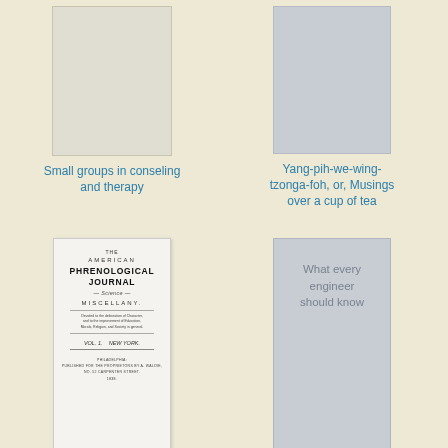[Figure (illustration): Blank beige book cover for 'Small groups in conseling and therapy']
[Figure (illustration): Gray book cover placeholder for 'Yang-pih-we-wing-tzonga-foh, or, Musings over a cup of tea']
Small groups in conseling and therapy
Yang-pih-we-wing-tzonga-foh, or, Musings over a cup of tea
[Figure (photo): Scanned title page of The American Phrenological Journal and Miscellany, Vol. 1, published in Philadelphia by A. Waldie]
[Figure (illustration): Gray book cover for 'What every engineer should know' with text visible at top]
The Phrenological Journal and Science of
What every engineer should know